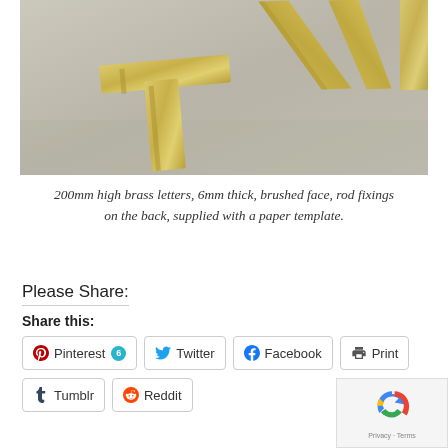[Figure (photo): Close-up photo of brushed brass metal letters on a grey surface. The letters appear to be large format, gold/brass colored with a brushed metallic finish.]
200mm high brass letters, 6mm thick, brushed face, rod fixings on the back, supplied with a paper template.
Please Share:
Share this:
Pinterest 6  Twitter  Facebook  Print  Tumblr  Reddit